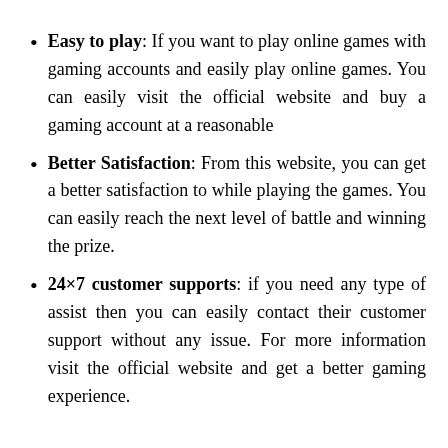Easy to play: If you want to play online games with gaming accounts and easily play online games. You can easily visit the official website and buy a gaming account at a reasonable
Better Satisfaction: From this website, you can get a better satisfaction to while playing the games. You can easily reach the next level of battle and winning the prize.
24×7 customer supports: if you need any type of assist then you can easily contact their customer support without any issue. For more information visit the official website and get a better gaming experience.